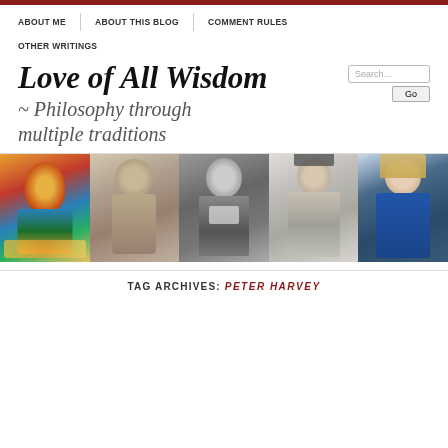ABOUT ME
ABOUT THIS BLOG
COMMENT RULES
OTHER WRITINGS
Love of All Wisdom
~ Philosophy through multiple traditions
[Figure (photo): A collage of five portraits: a Tibetan Buddhist deity painting, a Greek bust (likely Aristotle), a black-and-white photo of a 19th century philosopher, a Chinese scholar portrait, and a modern woman in a blue jacket.]
TAG ARCHIVES: PETER HARVEY